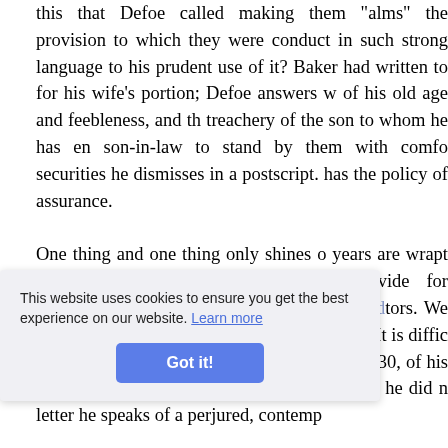this that Defoe called making them 'alms" the provision to which they were conduct in such strong language to his prudent use of it? Baker had written to for his wife's portion; Defoe answers w of his old age and feebleness, and th treachery of the son to whom he has en son-in-law to stand by them with comfo securities he dismisses in a postscript. has the policy of assurance.
One thing and one thing only shines o years are wrapt—his earnest desire to could not provide for themselves. Th probability the pursuit of creditors. We the year 1716 or thereabouts, ill his ut debts. It is diffic such pains, when he became prosperous as 1730, of his making over which I have quoted shows that he did n letter he speaks of a perjured, contemp
This website uses cookies to ensure you get the best experience on our website. Learn more
Got it!